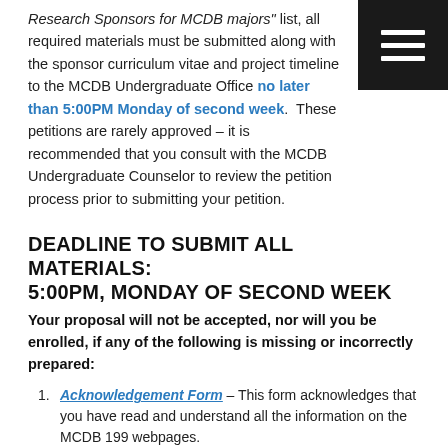Research Sponsors for MCDB majors" list, all required materials must be submitted along with the sponsor curriculum vitae and project timeline to the MCDB Undergraduate Office no later than 5:00PM Monday of second week. These petitions are rarely approved – it is recommended that you consult with the MCDB Undergraduate Counselor to review the petition process prior to submitting your petition.
[Figure (other): Black square menu/hamburger icon with three white horizontal lines]
DEADLINE TO SUBMIT ALL MATERIALS: 5:00PM, MONDAY OF SECOND WEEK
Your proposal will not be accepted, nor will you be enrolled, if any of the following is missing or incorrectly prepared:
Acknowledgement Form – This form acknowledges that you have read and understand all the information on the MCDB 199 webpages.
Project Proposal – Both the sponsor and the student